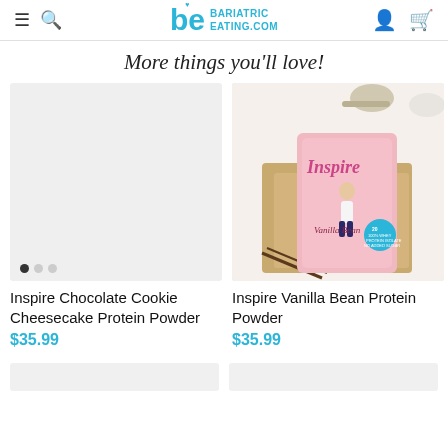BariatricEating.com
More things you'll love!
[Figure (photo): Product image placeholder for Inspire Chocolate Cookie Cheesecake Protein Powder with carousel dots]
Inspire Chocolate Cookie Cheesecake Protein Powder
$35.99
[Figure (photo): Inspire Vanilla Bean Protein Powder packet on wooden cutting board with vanilla beans and bowls]
Inspire Vanilla Bean Protein Powder
$35.99